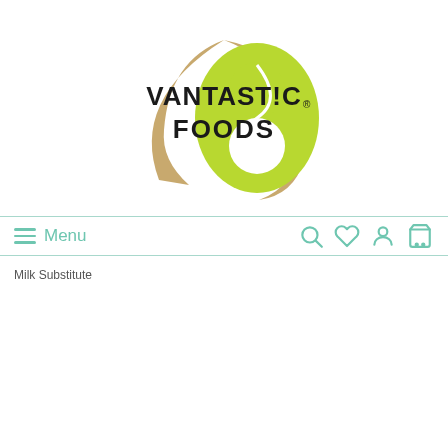[Figure (logo): Vantastic Foods logo: tan curved shape with lime green yin-yang style swoosh and bold black text reading VANTASTIC FOODS with registered trademark symbol]
≡ Menu
Milk Substitute